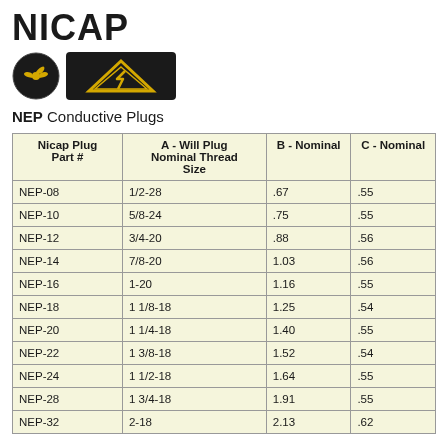NICAP
[Figure (logo): Two logos: a circular black badge with gold propeller/fan symbol, and a rectangular black badge with gold ESD/triangle warning symbol]
NEP Conductive Plugs
| Nicap Plug Part # | A - Will Plug Nominal Thread Size | B - Nominal | C - Nominal |
| --- | --- | --- | --- |
| NEP-08 | 1/2-28 | .67 | .55 |
| NEP-10 | 5/8-24 | .75 | .55 |
| NEP-12 | 3/4-20 | .88 | .56 |
| NEP-14 | 7/8-20 | 1.03 | .56 |
| NEP-16 | 1-20 | 1.16 | .55 |
| NEP-18 | 1 1/8-18 | 1.25 | .54 |
| NEP-20 | 1 1/4-18 | 1.40 | .55 |
| NEP-22 | 1 3/8-18 | 1.52 | .54 |
| NEP-24 | 1 1/2-18 | 1.64 | .55 |
| NEP-28 | 1 3/4-18 | 1.91 | .55 |
| NEP-32 | 2-18 | 2.13 | .62 |